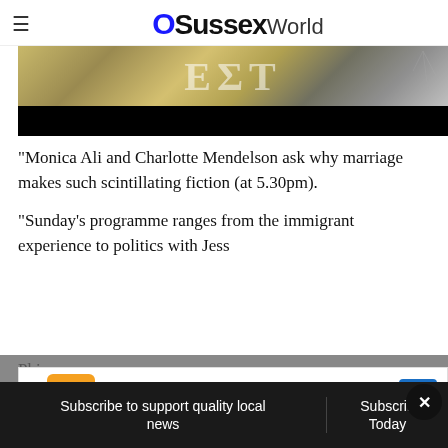OSussexWorld
[Figure (photo): Partial image of a book or event cover with golden/tan textured background and partial large text letters visible, with a black bar at the bottom]
"Monica Ali and Charlotte Mendelson ask why marriage makes such scintillating fiction (at 5.30pm).
“Sunday’s programme ranges from the immigrant experience to politics with Jess Phi...
[Figure (infographic): Advertisement banner: School Snacks They'll Love - Wegmans]
Subscribe to support quality local news
Subscribe Today